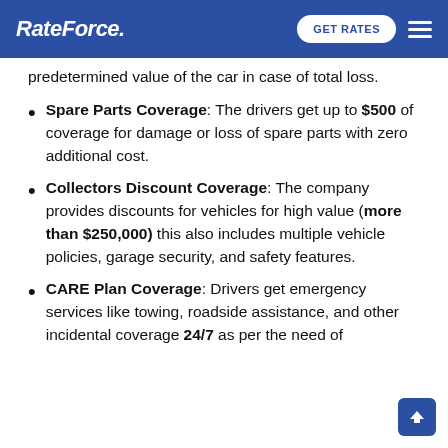RateForce
predetermined value of the car in case of total loss.
Spare Parts Coverage: The drivers get up to $500 of coverage for damage or loss of spare parts with zero additional cost.
Collectors Discount Coverage: The company provides discounts for vehicles for high value (more than $250,000) this also includes multiple vehicle policies, garage security, and safety features.
CARE Plan Coverage: Drivers get emergency services like towing, roadside assistance, and other incidental coverage 24/7 as per the need of